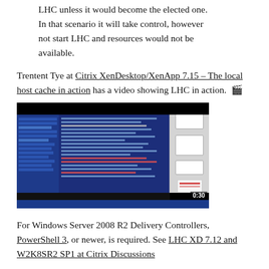LHC unless it would become the elected one. In that scenario it will take control, however not start LHC and resources would not be available.
Trentent Tye at Citrix XenDesktop/XenApp 7.15 – The local host cache in action has a video showing LHC in action. 🎬
[Figure (screenshot): Screenshot of a video showing a Windows desktop with command prompt windows and terminal output, with a timestamp of 0:30 in the bottom right corner.]
For Windows Server 2008 R2 Delivery Controllers, PowerShell 3, or newer, is required. See LHC XD 7.12 and W2K8SR2 SP1 at Citrix Discussions